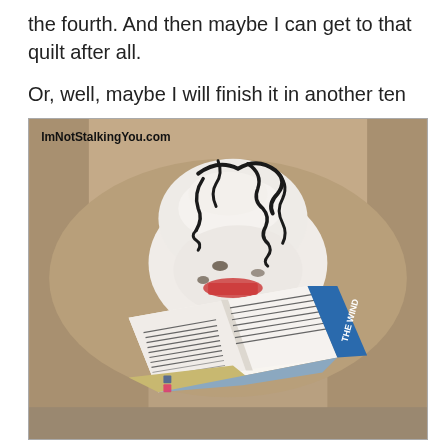the fourth. And then maybe I can get to that quilt after all.

Or, well, maybe I will finish it in another ten years.
[Figure (photo): A white fluffy stuffed animal toy with black scribble-like markings on top, sitting on a brown couch, appearing to read an open book titled 'THE WIND...' The image has a watermark 'ImNotStalkingYou.com' in the upper left corner.]